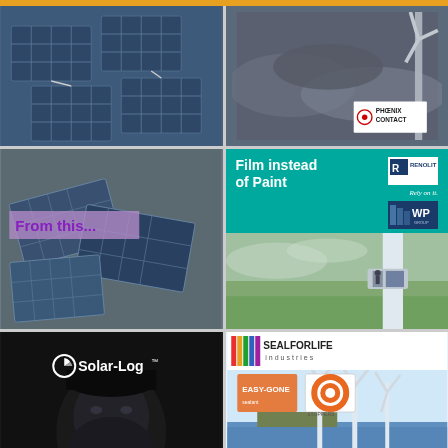[Figure (photo): Close-up photo of blue solar panels, arranged at angles]
[Figure (photo): Wind turbine against stormy clouds with Phoenix Contact logo box in corner]
[Figure (photo): Discarded/broken solar panels piled up with 'From this...' overlay text]
[Figure (illustration): Teal advertisement panel: Film instead of Paint, with Renolit and WP Group logos, and wind turbine maintenance photo below]
[Figure (photo): Dark advertisement for Solar-Log showing man in dark with Solar-Log logo]
[Figure (illustration): Seal For Life Industries advertisement with offshore wind turbine illustration and Easy-Gone/Stoppers logos]